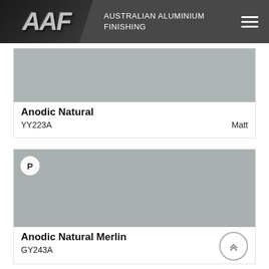AAF | AUSTRALIAN ALUMINIUM FINISHING
[Figure (photo): Grey anodic aluminium colour swatch for Anodic Natural]
Anodic Natural
YY223A
Matt
[Figure (photo): Grey anodic aluminium colour swatch for Anodic Natural Merlin with P badge]
Anodic Natural Merlin
GY243A
[Figure (photo): Partial grey anodic aluminium colour swatch with P badge (third product, cut off)]